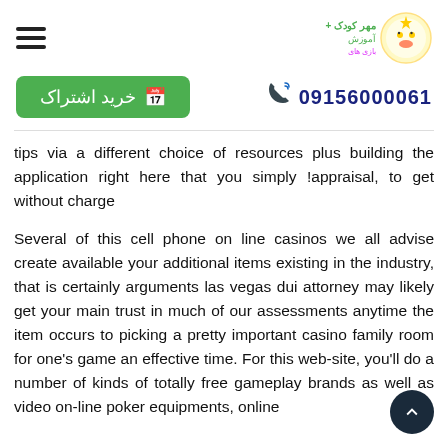Header with hamburger menu and logo
خرید اشتراک   09156000061
tips via a different choice of resources plus building the application right here that you simply !appraisal, to get without charge
Several of this cell phone on line casinos we all advise create available your additional items existing in the industry, that is certainly arguments las vegas dui attorney may likely get your main trust in much of our assessments anytime the item occurs to picking a pretty important casino family room for one's game an effective time. For this web-site, you'll do a number of kinds of totally free gameplay brands as well as video on-line poker equipments, online